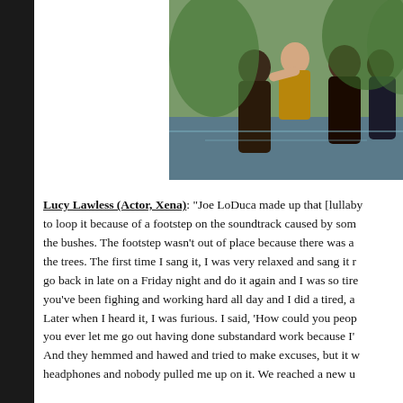[Figure (photo): Scene from Xena: Warrior Princess showing multiple characters near water and bushes, including actors in costume]
Lucy Lawless (Actor, Xena): "Joe LoDuca made up that [lullaby] to loop it because of a footstep on the soundtrack caused by some in the bushes. The footstep wasn't out of place because there was a the trees. The first time I sang it, I was very relaxed and sang it r go back in late on a Friday night and do it again and I was so tire you've been fighing and working hard all day and I did a tired, a Later when I heard it, I was furious. I said, 'How could you peop you ever let me go out having done substandard work because I' And they hemmed and hawed and tried to make excuses, but it w headphones and nobody pulled me up on it. We reached a new u"